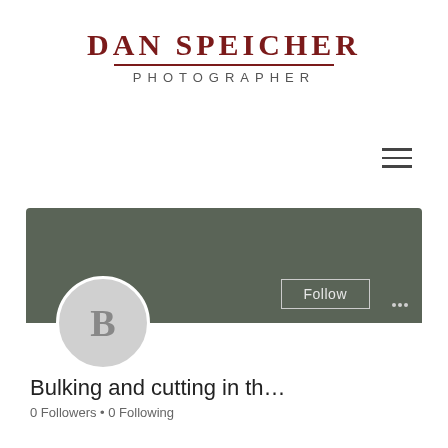DAN SPEICHER
PHOTOGRAPHER
[Figure (screenshot): A website screenshot showing the Dan Speicher Photographer logo at the top, a hamburger menu icon, and a profile card with a dark green banner, a circular avatar with the letter B, a Follow button, three-dot menu, profile name 'Bulking and cutting in th...' and '0 Followers • 0 Following']